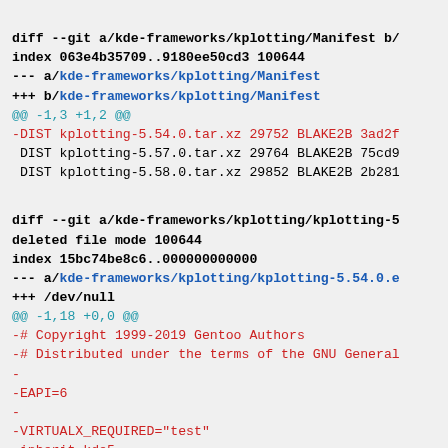diff --git a/kde-frameworks/kplotting/Manifest b/
index 063e4b35709..9180ee50cd3 100644
--- a/kde-frameworks/kplotting/Manifest
+++ b/kde-frameworks/kplotting/Manifest
@@ -1,3 +1,2 @@
-DIST kplotting-5.54.0.tar.xz 29752 BLAKE2B 3ad2f
 DIST kplotting-5.57.0.tar.xz 29764 BLAKE2B 75cd9
 DIST kplotting-5.58.0.tar.xz 29852 BLAKE2B 2b281

diff --git a/kde-frameworks/kplotting/kplotting-5
deleted file mode 100644
index 15bc74be8c6..000000000000
--- a/kde-frameworks/kplotting/kplotting-5.54.0.e
+++ /dev/null
@@ -1,18 +0,0 @@
-# Copyright 1999-2019 Gentoo Authors
-# Distributed under the terms of the GNU General
-
-EAPI=6
-
-VIRTUALX_REQUIRED="test"
-inherit kde5
[Figure (screenshot): Git diff output showing changes to kde-frameworks/kplotting package files]